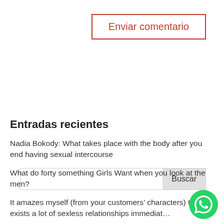Enviar comentario
[Figure (other): Search bar with Buscar button]
Entradas recientes
Nadia Bokody: What takes place with the body after you end having sexual intercourse
What do forty something Girls Want when you look at the men?
It amazes myself (from your customers’ characters) there exists a lot of sexless relationships immediat…
The major Bad credit Loan providers away from 2022